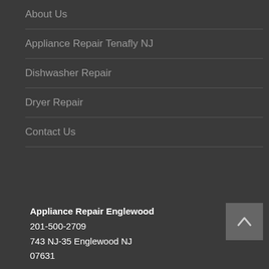About Us
Appliance Repair Tenafly NJ
Dishwasher Repair
Dryer Repair
Contact Us
Appliance Repair Englewood
201-500-2709
743 NJ-35 Englewood NJ
07631
Facebook
Twitter
Youtube